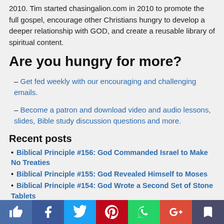2010. Tim started chasingalion.com in 2010 to promote the full gospel, encourage other Christians hungry to develop a deeper relationship with GOD, and create a reusable library of spiritual content.
Are you hungry for more?
– Get fed weekly with our encouraging and challenging emails.
– Become a patron and download video and audio lessons, slides, Bible study discussion questions and more.
Recent posts
Biblical Principle #156: God Commanded Israel to Make No Treaties
Biblical Principle #155: God Revealed Himself to Moses
Biblical Principle #154: God Wrote a Second Set of Stone Tablets
Biblical Principle #153: Moses Asked to See God
Biblical Principle #152: Moses Moved Outside the Camp